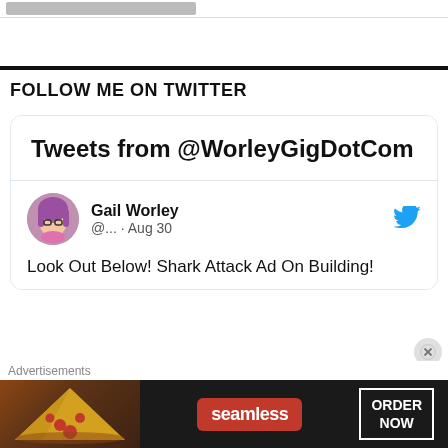[Figure (screenshot): Top navigation bar with grey button element]
FOLLOW ME ON TWITTER
[Figure (screenshot): Twitter widget showing 'Tweets from @WorleyGigDotCom' header section]
[Figure (screenshot): Tweet by Gail Worley @... Aug 30: Look Out Below! Shark Attack Ad On Building!]
Advertisements
[Figure (screenshot): Seamless food delivery advertisement banner with pizza image, Seamless logo and ORDER NOW button]